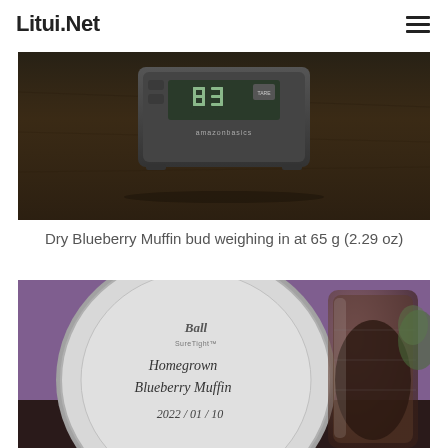Litui.Net
[Figure (photo): A digital kitchen scale (AmazonBasics brand) on a dark wooden surface, showing a reading, viewed from above.]
Dry Blueberry Muffin bud weighing in at 65 g (2.29 oz)
[Figure (photo): A Ball SureTight mason jar lid labeled 'Homegrown Blueberry Muffin 2022/01/10' next to a glass jar containing dark dried plant material, set against a purple background.]